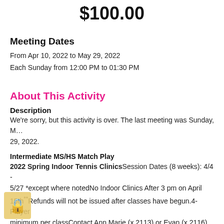$100.00
Meeting Dates
From Apr 10, 2022 to May 29, 2022
Each Sunday from 12:00 PM to 01:30 PM
About This Activity
Description
We're sorry, but this activity is over. The last meeting was Sunday, M… 29, 2022.
Intermediate MS/HS Match Play
2022 Spring Indoor Tennis ClinicsSession Dates (8 weeks): 4/4 - 5/27 *except where notedNo Indoor Clinics After 3 pm on April 15th**Refunds will not be issued after classes have begun.4-Player minimum per classContact Ann Marie (x 2113) or Evan (x 2116) at 3…